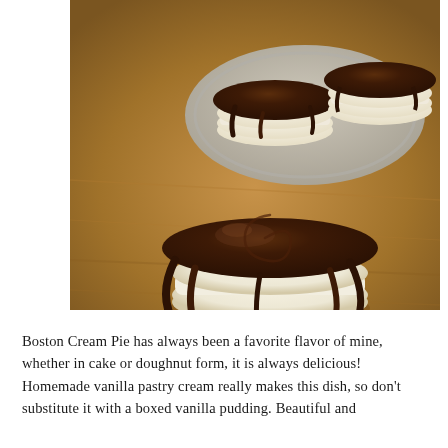[Figure (photo): Close-up food photograph of Boston Cream Pie cookies/sandwich cookies topped with glossy dark chocolate ganache dripping down the sides, stacked in pairs with cream filling visible, arranged on a wooden surface with a metal plate in the background holding more cookies.]
Boston Cream Pie has always been a favorite flavor of mine, whether in cake or doughnut form, it is always delicious! Homemade vanilla pastry cream really makes this dish, so don't substitute it with a boxed vanilla pudding. Beautiful and